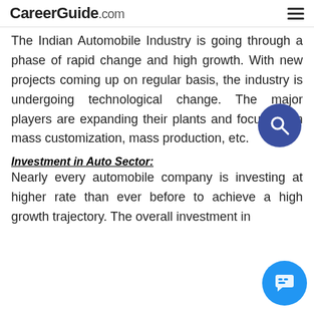CareerGuide.com
The Indian Automobile Industry is going through a phase of rapid change and high growth. With new projects coming up on regular basis, the industry is undergoing technological change. The major players are expanding their plants and focusing on mass customization, mass production, etc.
Investment in Auto Sector:
Nearly every automobile company is investing at higher rate than ever before to achieve a high growth trajectory. The overall investment in